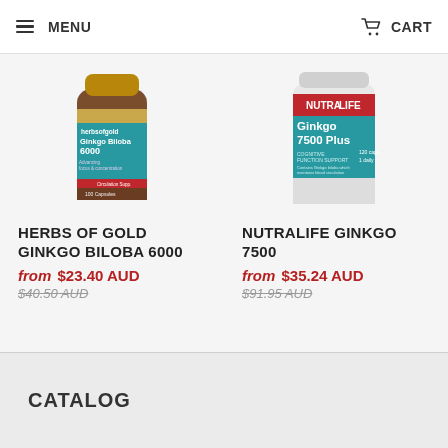MENU   CART
[Figure (photo): Product bottle of Herbs of Gold Ginkgo Biloba 6000 supplement, brown bottle with teal and gold label]
[Figure (photo): Product bottle of Nutralife Ginkgo 7500 Plus supplement, white bottle with teal and red label]
HERBS OF GOLD GINKGO BILOBA 6000
from $23.40 AUD
$40.50 AUD
NUTRALIFE GINKGO 7500
from $35.24 AUD
$91.95 AUD
CATALOG